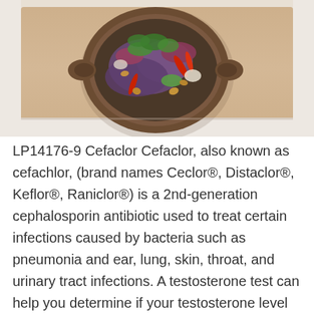[Figure (photo): Overhead view of a colorful salad with purple cabbage, red chili peppers, green vegetables, and nuts in a dark oval bowl on a wooden cutting board against a light marble background.]
LP14176-9 Cefaclor Cefaclor, also known as cefachlor, (brand names Ceclor®, Distaclor®, Keflor®, Raniclor®) is a 2nd-generation cephalosporin antibiotic used to treat certain infections caused by bacteria such as pneumonia and ear, lung, skin, throat, and urinary tract infections. A testosterone test can help you determine if your testosterone level is within the normal range for your age. This test measures the total level of testosterone in the body, which is one of the factors responsible for regulating sex drive